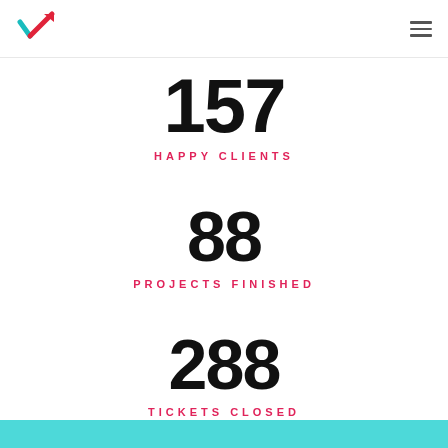Logo and navigation
157
HAPPY CLIENTS
88
PROJECTS FINISHED
288
TICKETS CLOSED